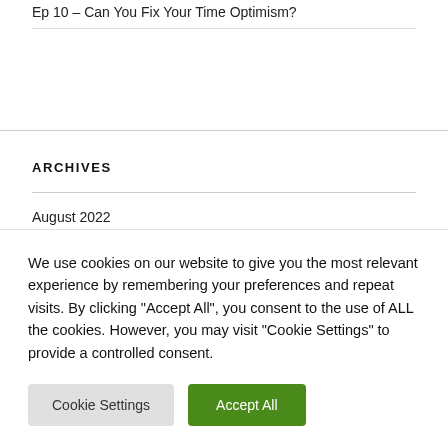Ep 10 – Can You Fix Your Time Optimism?
ARCHIVES
August 2022
July 2022
We use cookies on our website to give you the most relevant experience by remembering your preferences and repeat visits. By clicking "Accept All", you consent to the use of ALL the cookies. However, you may visit "Cookie Settings" to provide a controlled consent.
Cookie Settings
Accept All